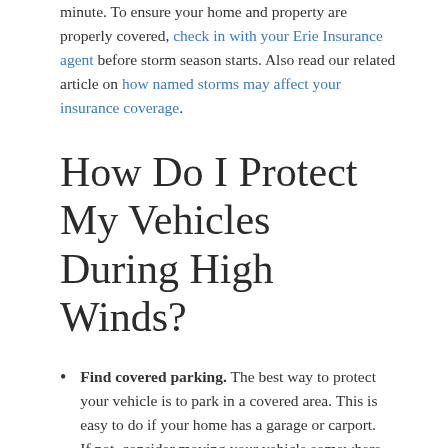minute. To ensure your home and property are properly covered, check in with your Erie Insurance agent before storm season starts. Also read our related article on how named storms may affect your insurance coverage.
How Do I Protect My Vehicles During High Winds?
Find covered parking. The best way to protect your vehicle is to park in a covered area. This is easy to do if your home has a garage or carport. If not, consider moving your vehicle somewhere